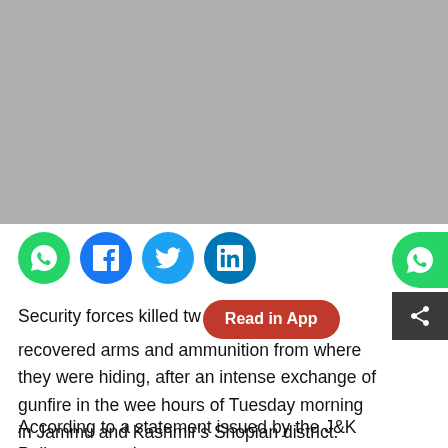[Figure (photo): Gray placeholder image occupying the top half of the page]
[Figure (infographic): Social media share icons: WhatsApp (green), Facebook (blue), Twitter (blue), LinkedIn (blue) on the left; WhatsApp and share icons on the right side]
Security forces killed tw [Read in App] recovered arms and ammunition from where they were hiding, after an intense exchange of gunfire in the wee hours of Tuesday morning in Jammu and Kashmir's Shopian district.
According to a statement issued by the J&K Police, a search